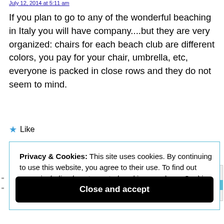July 12, 2014 at 5:11 am
If you plan to go to any of the wonderful beaching in Italy you will have company....but they are very organized: chairs for each beach club are different colors, you pay for your chair, umbrella, etc, everyone is packed in close rows and they do not seem to mind.
★ Like
Privacy & Cookies: This site uses cookies. By continuing to use this website, you agree to their use. To find out more, including how to control cookies, see here: Cookie Policy
Close and accept
…